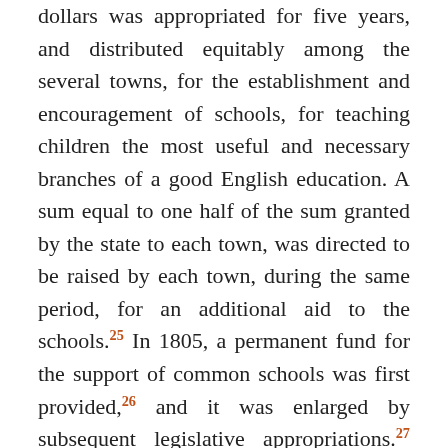dollars was appropriated for five years, and distributed equitably among the several towns, for the establishment and encouragement of schools, for teaching children the most useful and necessary branches of a good English education. A sum equal to one half of the sum granted by the state to each town, was directed to be raised by each town, during the same period, for an additional aid to the schools.25 In 1805, a permanent fund for the support of common schools was first provided,26 and it was enlarged by subsequent legislative appropriations.27 An increasing anxiety for the growth, security, and application of the fund, and a deep sense of its value and importance, were constantly felt. In 1811, the legislatures28 took measures for the preparation and digest of a system for the